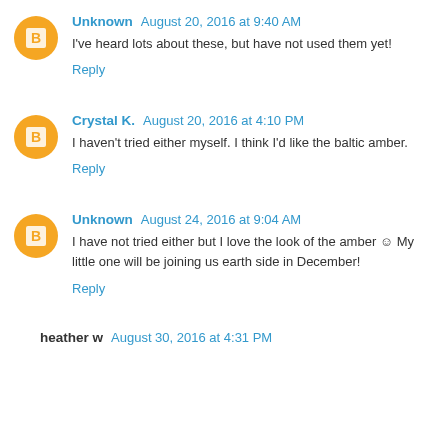Unknown August 20, 2016 at 9:40 AM
I've heard lots about these, but have not used them yet!
Reply
Crystal K. August 20, 2016 at 4:10 PM
I haven't tried either myself. I think I'd like the baltic amber.
Reply
Unknown August 24, 2016 at 9:04 AM
I have not tried either but I love the look of the amber 😊 My little one will be joining us earth side in December!
Reply
heather w August 30, 2016 at 4:31 PM